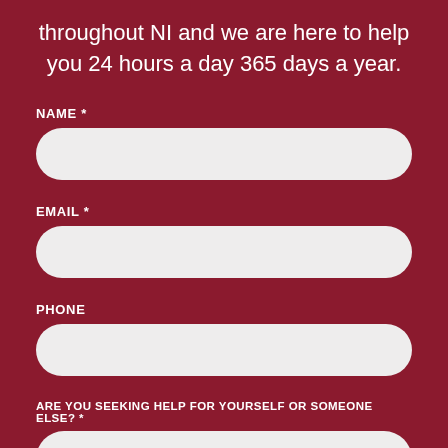throughout NI and we are here to help you 24 hours a day 365 days a year.
NAME *
EMAIL *
PHONE
ARE YOU SEEKING HELP FOR YOURSELF OR SOMEONE ELSE? *